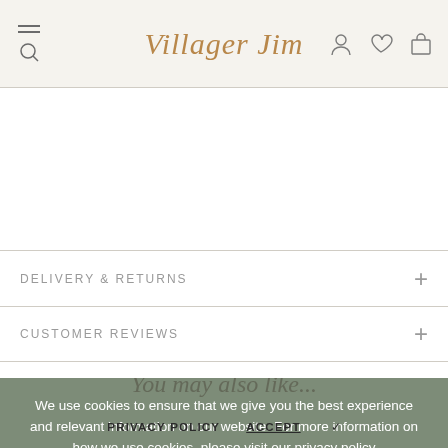Villager Jim — navigation header with logo and icons
DELIVERY & RETURNS
CUSTOMER REVIEWS
We use cookies to ensure that we give you the best experience and relevant information on our website. For more information on how we use cookies, please visit our privacy policy
You may also like...
PRIVACY POLICY   ACCEPT ✓